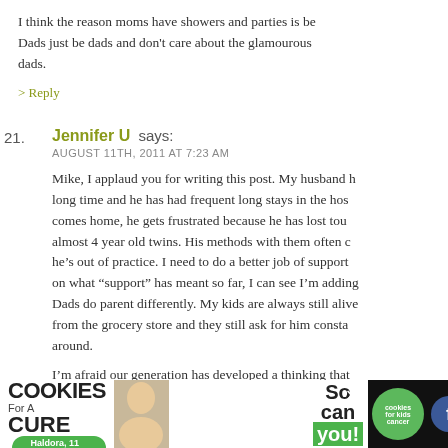I think the reason moms have showers and parties is be... Dads just be dads and don't care about the glamourous... dads.
> Reply
21. Jennifer U says: AUGUST 11TH, 2011 AT 7:23 AM
Mike, I applaud you for writing this post. My husband h... long time and he has had frequent long stays in the hos... comes home, he gets frustrated because he has lost tou... almost 4 year old twins. His methods with them often c... he's out of practice. I need to do a better job of support... on what "support" has meant so far, I can see I'm adding... Dads do parent differently. My kids are always still alive... from the grocery store and they still ask for him consta... around.
I'm afraid our generation has developed a thinking that...
[Figure (screenshot): Advertisement banner: I Bake COOKIES For A CURE - Haldora, 11 Cancer Survivor - So can you! - cookies for kids cancer logo]